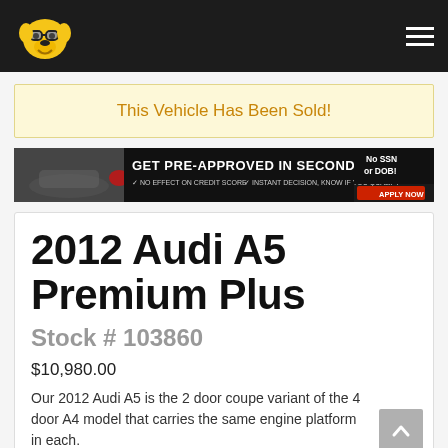Used car dealership website header with logo and navigation menu
This Vehicle Has Been Sold!
[Figure (infographic): Advertisement banner: GET PRE-APPROVED IN SECONDS! No SSN or DOB! NO EFFECT ON CREDIT SCORE. INSTANT DECISION, KNOW IF YOU QUALIFY. APPLY NOW!]
2012 Audi A5 Premium Plus
Stock # 103860
$10,980.00
Our 2012 Audi A5 is the 2 door coupe variant of the 4 door A4 model that carries the same engine platform in each.